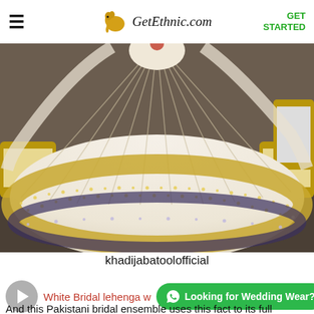GetEthnic.com — GET STARTED
[Figure (photo): A Pakistani bridal lehenga spread out showing heavily embellished white/cream fabric with gold and silver sequined border, photographed in an ornate gold-furnished room.]
khadijabatoolofficial
White Bridal lehenga w…
And this Pakistani bridal ensemble uses this fact to its full